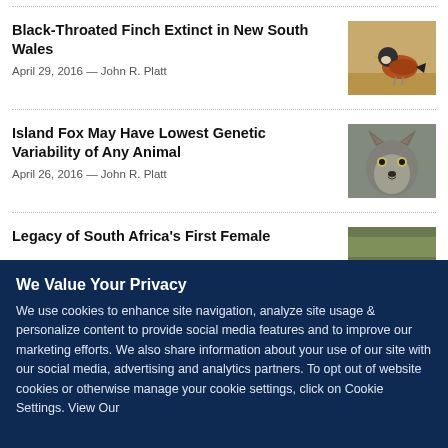Black-Throated Finch Extinct in New South Wales
April 29, 2016 — John R. Platt
[Figure (photo): Photo of a black-throated finch bird on sandy ground]
Island Fox May Have Lowest Genetic Variability of Any Animal
April 26, 2016 — John R. Platt
[Figure (photo): Close-up photo of an island fox face]
Legacy of South Africa's First Female
[Figure (photo): Partial photo partially covered by cookie banner]
We Value Your Privacy
We use cookies to enhance site navigation, analyze site usage & personalize content to provide social media features and to improve our marketing efforts. We also share information about your use of our site with our social media, advertising and analytics partners. To opt out of website cookies or otherwise manage your cookie settings, click on Cookie Settings. View Our